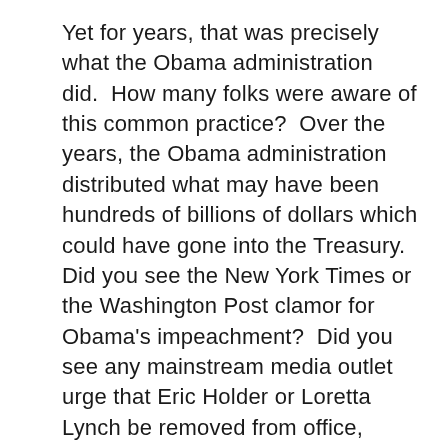Yet for years, that was precisely what the Obama administration did. How many folks were aware of this common practice? Over the years, the Obama administration distributed what may have been hundreds of billions of dollars which could have gone into the Treasury. Did you see the New York Times or the Washington Post clamor for Obama's impeachment? Did you see any mainstream media outlet urge that Eric Holder or Loretta Lynch be removed from office, especially when there was no legal basis for robbing the taxpayers to give huge settlements to groups that were never parties to the lawsuit being settled? Why, of course not. Most of the mainstream media thought it was hunky dory that the Justice Department would extort money from corporations and give money to